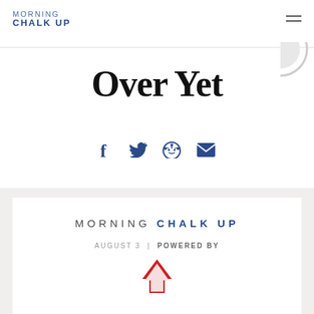MORNING CHALK UP
Over Yet
[Figure (infographic): Social share icons: Facebook, Twitter, Reddit, Email]
[Figure (logo): Morning Chalk Up newsletter logo with date August 3 | Powered By, and a red chevron/arrow logo below]
AUGUST 3  |  POWERED BY